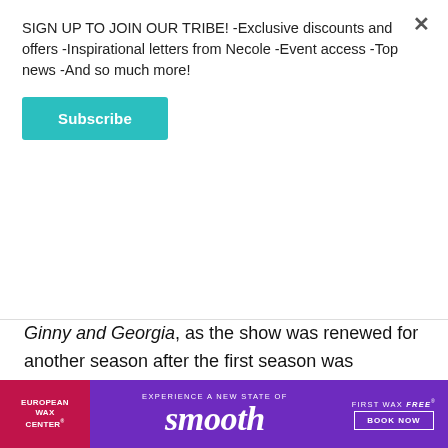SIGN UP TO JOIN OUR TRIBE! -Exclusive discounts and offers -Inspirational letters from Necole -Event access -Top news -And so much more!
Subscribe
Ginny and Georgia, as the show was renewed for another season after the first season was watched by 52 million subscribers. Additionally, his opportunity with Issa came back full circle as Rae offered him a position as staff writer for the fifth and final season of Insecure. Mike happily accepted.
The writer urges anyone who has a dream to push
[Figure (other): European Wax Center advertisement banner: 'Experience a New State of smooth - First Wax Free - Book Now']